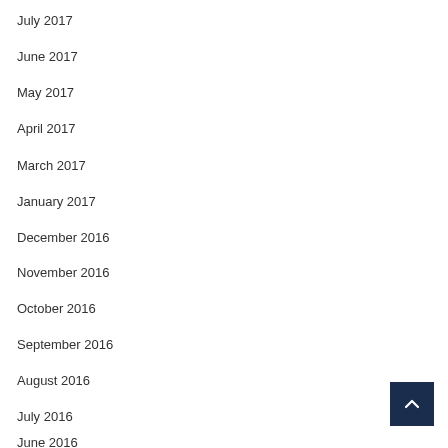July 2017
June 2017
May 2017
April 2017
March 2017
January 2017
December 2016
November 2016
October 2016
September 2016
August 2016
July 2016
June 2016